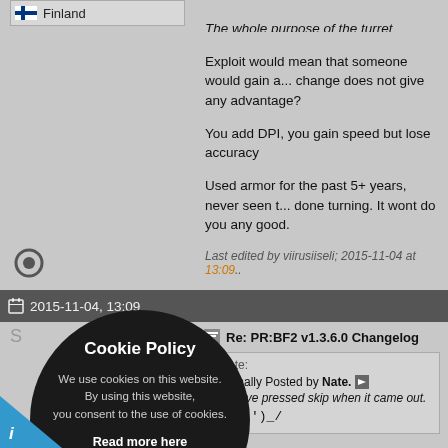[Figure (screenshot): Forum flag box showing Finland with Finnish flag icon]
The whole purpose of the turret changes w... traverse speed, if your mouse(DPI) and yo... countered when stopping but the traverse...
Exploit would mean that someone would gain a... change does not give any advantage?
You add DPI, you gain speed but lose accuracy
Used armor for the past 5+ years, never seen t... done turning. It wont do you any good.
Last edited by viirusiiseli; 2015-11-04 at 13:09..
2015-11-04, 13:09
Re: PR:BF2 v1.3.6.0 Changelog
Quote:
Originally Posted by Nate.
Could've pressed skip when it came out.
\_('.')_/
2late ;-;
now I have to play with Ruskies ;-;
rip ;-;
[Figure (infographic): Cookie Policy overlay circle on dark background with close button]